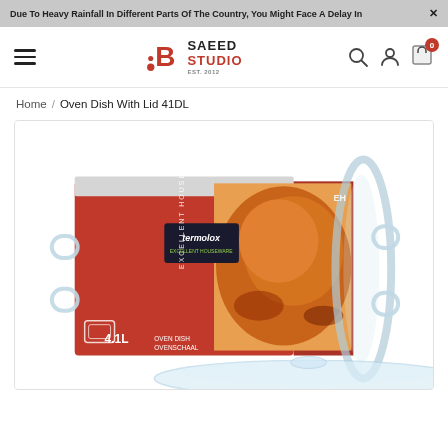Due To Heavy Rainfall In Different Parts Of The Country, You Might Face A Delay In
[Figure (logo): Saeed Studio logo with hamburger menu, search, user, and cart icons]
Home / Oven Dish With Lid 41DL
[Figure (photo): Oven Dish With Lid 41DL product packaging — red Termolox box showing 4.1L oven dish with glass lid, with food photography on box]